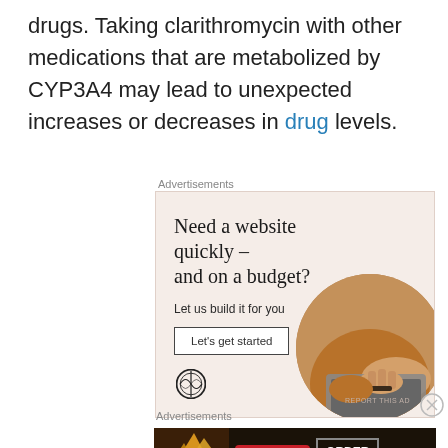drugs. Taking clarithromycin with other medications that are metabolized by CYP3A4 may lead to unexpected increases or decreases in drug levels.
Advertisements
[Figure (other): WordPress advertisement banner: 'Need a website quickly – and on a budget? Let us build it for you' with a 'Let's get started' button, WordPress logo, and circular photo of person using laptop]
Advertisements
[Figure (other): Seamless food delivery advertisement banner showing pizza slices, Seamless logo in red, and 'ORDER NOW' button]